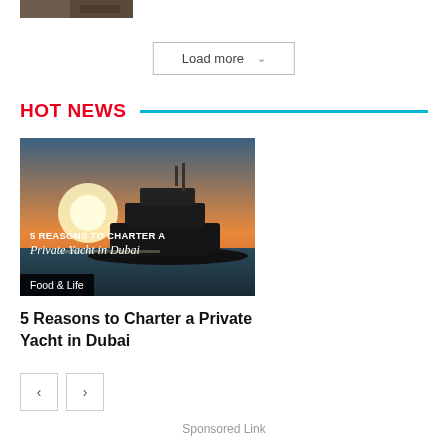[Figure (photo): Partial image cropped at top left corner]
Load more ˅
HOT NEWS
[Figure (photo): Yacht at sunset with text overlay: 5 REASONS TO CHARTER A Private Yacht in Dubai, category label Food & Life]
5 Reasons to Charter a Private Yacht in Dubai
< >
Sponsored Link